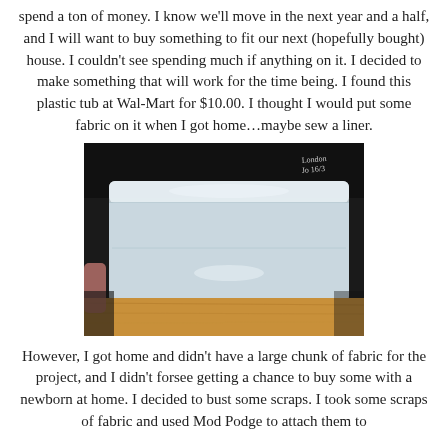spend a ton of money. I know we'll move in the next year and a half, and I will want to buy something to fit our next (hopefully bought) house. I couldn't see spending much if anything on it. I decided to make something that will work for the time being. I found this plastic tub at Wal-Mart for $10.00. I thought I would put some fabric on it when I got home…maybe sew a liner.
[Figure (photo): A clear plastic storage tub/container sitting on a wooden surface, photographed against a dark background. The tub is translucent white/clear with a lid, rectangular in shape.]
However, I got home and didn't have a large chunk of fabric for the project, and I didn't forsee getting a chance to buy some with a newborn at home. I decided to bust some scraps. I took some scraps of fabric and used Mod Podge to attach them to